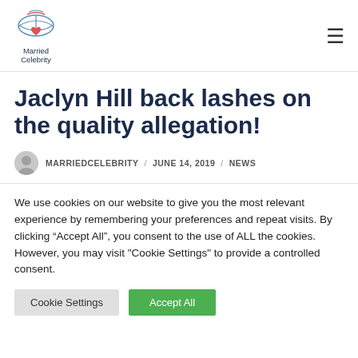[Figure (logo): Married Celebrity logo with stylized open book and heart icon, text reads 'Married Celebrity']
Jaclyn Hill back lashes on the quality allegation!
MARRIEDCELEBRITY / JUNE 14, 2019 / NEWS
We use cookies on our website to give you the most relevant experience by remembering your preferences and repeat visits. By clicking "Accept All", you consent to the use of ALL the cookies. However, you may visit "Cookie Settings" to provide a controlled consent.